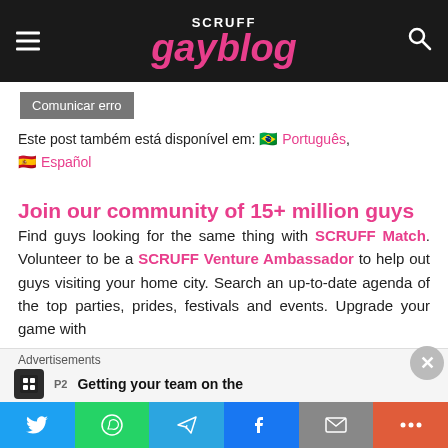SCRUFF gayblog
Comunicar erro
Este post também está disponível em: 🇧🇷 Português, 🇪🇸 Español
Join our community of 15+ million guys
Find guys looking for the same thing with SCRUFF Match. Volunteer to be a SCRUFF Venture Ambassador to help out guys visiting your home city. Search an up-to-date agenda of the top parties, prides, festivals and events. Upgrade your game with
Advertisements
Getting your team on the
Twitter WhatsApp Telegram Facebook Email More